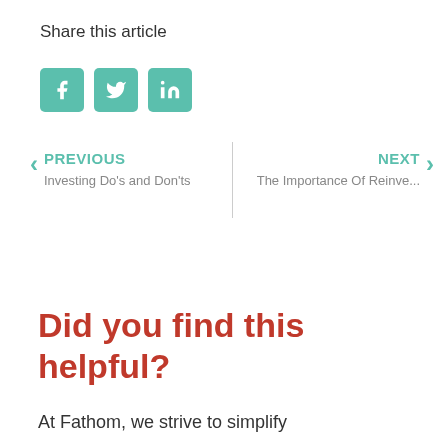Share this article
[Figure (infographic): Three social media share buttons with teal/green background: Facebook (f icon), Twitter (bird icon), LinkedIn (in icon)]
PREVIOUS
Investing Do's and Don'ts
NEXT
The Importance Of Reinve...
Did you find this helpful?
At Fathom, we strive to simplify